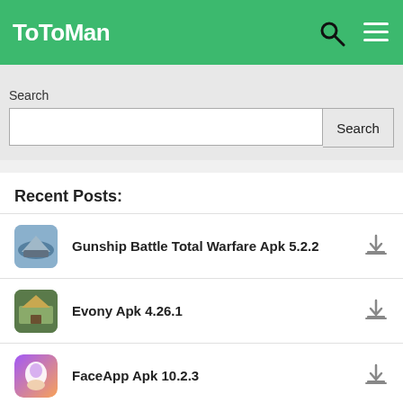ToToMan
Search
Gunship Battle Total Warfare Apk 5.2.2
Evony Apk 4.26.1
FaceApp Apk 10.2.3
Coin Master Apk 3.5.751